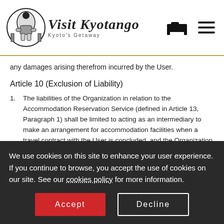Visit Kyotango — Kyoto's Getaway
any damages arising therefrom incurred by the User.
Article 10 (Exclusion of Liability)
1. The liabilities of the Organization in relation to the Accommodation Reservation Service (defined in Article 13, Paragraph 1) shall be limited to acting as an intermediary to make an arrangement for accommodation facilities when a travel contract with the User is concluded, and the Organization assumes no other liability whatsoever, except where the travel contract or the Terms, etc. specifically provides otherwise.
We use cookies on this site to enhance your user experience. If you continue to browse, you accept the use of cookies on our site. See our cookies policy for more information.